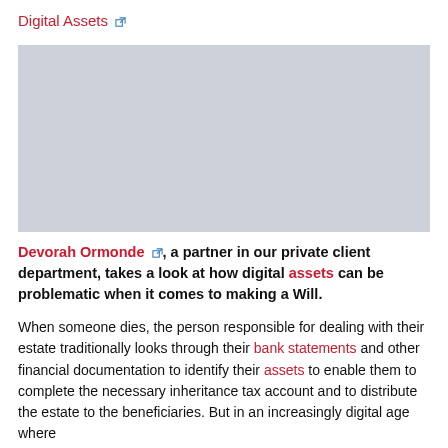Digital Assets
[Figure (photo): Photograph placeholder — grey rectangle representing an image related to digital assets]
Devorah Ormonde, a partner in our private client department, takes a look at how digital assets can be problematic when it comes to making a Will.
When someone dies, the person responsible for dealing with their estate traditionally looks through their bank statements and other financial documentation to identify their assets to enable them to complete the necessary inheritance tax account and to distribute the estate to the beneficiaries. But in an increasingly digital age where